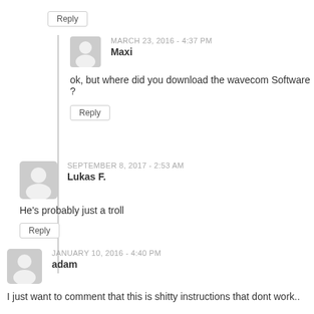Reply button (top)
MARCH 23, 2016 - 4:37 PM
Maxi
ok, but where did you download the wavecom Software ?
Reply (Maxi)
SEPTEMBER 8, 2017 - 2:53 AM
Lukas F.
He’s probably just a troll
Reply (Lukas F.)
JANUARY 10, 2016 - 4:40 PM
adam
I just want to comment that this is shitty instructions that dont work..
“failed to find package ‘libzmq1-dev